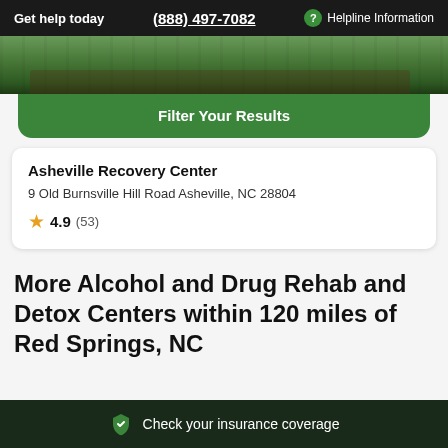Get help today  (888) 497-7082  ? Helpline Information
[Figure (photo): Aerial or outdoor photo of a wooded/forested area with buildings, used as a header image for a rehab center listing]
Filter Your Results
Asheville Recovery Center
9 Old Burnsville Hill Road Asheville, NC 28804
4.9 (53)
More Alcohol and Drug Rehab and Detox Centers within 120 miles of Red Springs, NC
Check your insurance coverage